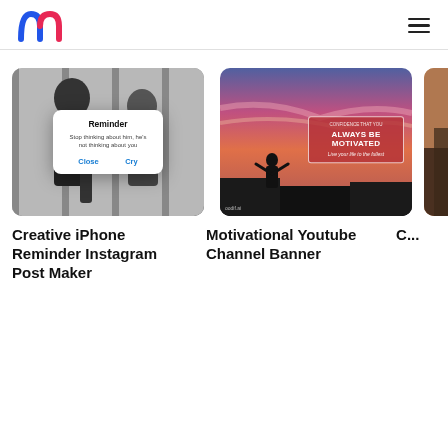Mockey logo and navigation hamburger menu
[Figure (screenshot): Black and white photo of two people with a dialog popup that says 'Reminder - Stop thinking about him, he's not thinking about you' with Close and Cry buttons]
Creative iPhone Reminder Instagram Post Maker
[Figure (screenshot): Motivational YouTube channel banner with sunset sky background, silhouette of person with arms raised, and text 'ALWAYS BE MOTIVATED - Live your life to the fullest'. Watermark: oodif.ai]
Motivational Youtube Channel Banner
[Figure (photo): Partially visible third card showing an urban/city scene, cropped at right edge]